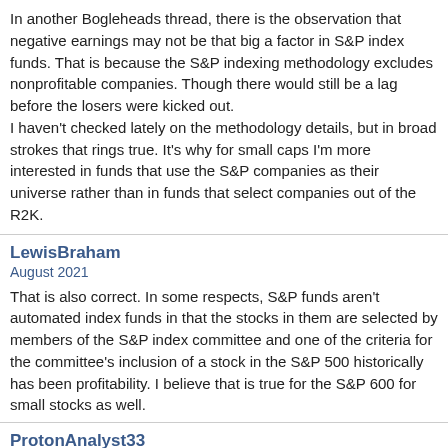In another Bogleheads thread, there is the observation that negative earnings may not be that big a factor in S&P index funds. That is because the S&P indexing methodology excludes nonprofitable companies. Though there would still be a lag before the losers were kicked out.

I haven't checked lately on the methodology details, but in broad strokes that rings true. It's why for small caps I'm more interested in funds that use the S&P companies as their universe rather than in funds that select companies out of the R2K.
LewisBraham
August 2021
That is also correct. In some respects, S&P funds aren't automated index funds in that the stocks in them are selected by members of the S&P index committee and one of the criteria for the committee's inclusion of a stock in the S&P 500 historically has been profitability. I believe that is true for the S&P 600 for small stocks as well.
ProtonAnalyst33
August 2021
I'ves seen an increase in the use of harmonic average, because it supposedly eliminates outliers, is that correct?